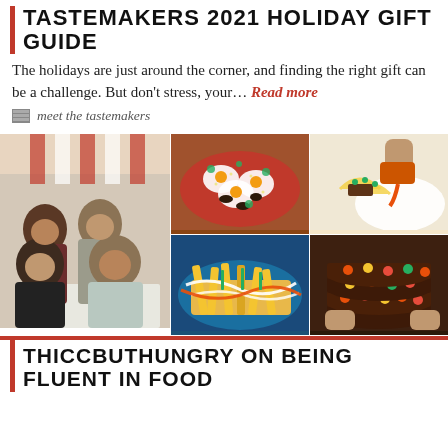TASTEMAKERS 2021 HOLIDAY GIFT GUIDE
The holidays are just around the corner, and finding the right gift can be a challenge. But don't stress, your… Read more
meet the tastemakers
[Figure (photo): Collage of food photos: group of four people seated at outdoor table, shakshuka dish with eggs and olives, tacos with sauce being poured, loaded fries with drizzled sauces, stack of chocolate cookies with candy pieces]
THICCBUTHUNGRY ON BEING FLUENT IN FOOD